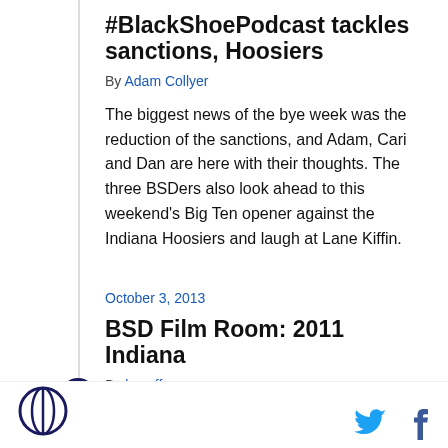#BlackShoePodcast tackles sanctions, Hoosiers
By Adam Collyer
The biggest news of the bye week was the reduction of the sanctions, and Adam, Cari and Dan are here with their thoughts. The three BSDers also look ahead to this weekend's Big Ten opener against the Indiana Hoosiers and laugh at Lane Kiffin.
October 3, 2013
BSD Film Room: 2011 Indiana
By bscaff
Let's rewind the time machine to October 1st, 2011, at Bloomington, Indiana